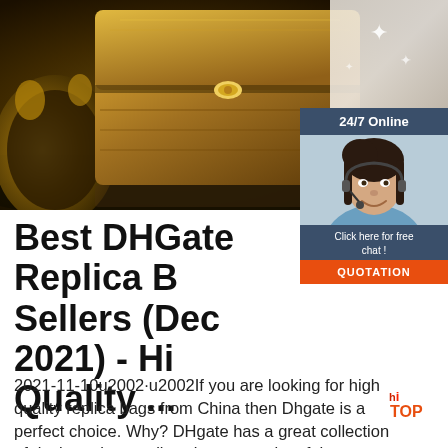[Figure (photo): Banner image showing an ornate golden jewelry/treasure box on a mirrored surface with gold decorative frame, and a partially visible customer service agent with headset on the right side.]
[Figure (infographic): Chat widget overlay showing '24/7 Online' header in dark blue, a female customer service agent with headset, 'Click here for free chat!' text, and an orange 'QUOTATION' button.]
Best DHGate Replica Best Sellers (Dec 2021) - High Quality ...
2021-11-10u2002·u2002If you are looking for high quality replica bags from China then Dhgate is a perfect choice. Why? DHgate has a great collection of designer bag replicas because a lot of the